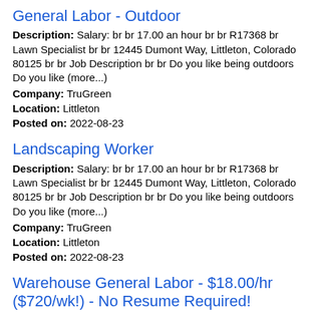General Labor - Outdoor
Description: Salary: br br 17.00 an hour br br R17368 br Lawn Specialist br br 12445 Dumont Way, Littleton, Colorado 80125 br br Job Description br br Do you like being outdoors Do you like (more...)
Company: TruGreen
Location: Littleton
Posted on: 2022-08-23
Landscaping Worker
Description: Salary: br br 17.00 an hour br br R17368 br Lawn Specialist br br 12445 Dumont Way, Littleton, Colorado 80125 br br Job Description br br Do you like being outdoors Do you like (more...)
Company: TruGreen
Location: Littleton
Posted on: 2022-08-23
Warehouse General Labor - $18.00/hr ($720/wk!) - No Resume Required!
Description: Bluecrew is looking for Warehouse General Laborers to work for a electric vehicle company Come work in a fast paced, dynamic warehouse environment. We are hiring Immediately so apply now Start working (more...)
Company: Bluecrew
Location: Aurora
Posted on: 2022-08-23